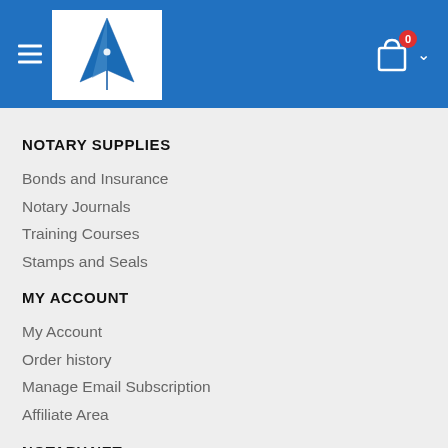[Figure (logo): Notary.net logo with pen nib on white square, set in blue header bar with hamburger menu and shopping cart icon showing 0 items]
NOTARY SUPPLIES
Bonds and Insurance
Notary Journals
Training Courses
Stamps and Seals
MY ACCOUNT
My Account
Order history
Manage Email Subscription
Affiliate Area
NOTARY.NET